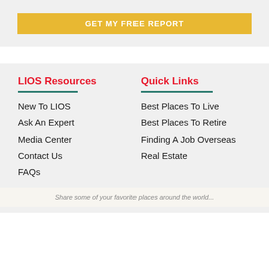GET MY FREE REPORT
LIOS Resources
New To LIOS
Ask An Expert
Media Center
Contact Us
FAQs
Quick Links
Best Places To Live
Best Places To Retire
Finding A Job Overseas
Real Estate